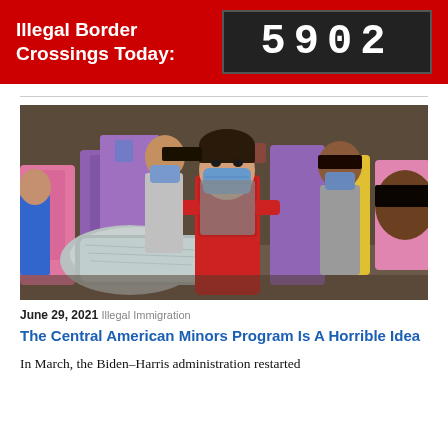Illegal Border Crossings Today: 5902
[Figure (photo): Children wearing masks in what appears to be a detention or processing facility with colorful plastic barriers/panels in background. Central figure is a boy in a red jacket with a blue mask carrying a silver/foil thermal blanket.]
June 29, 2021  Illegal Immigration
The Central American Minors Program Is A Horrible Idea
In March, the Biden–Harris administration restarted